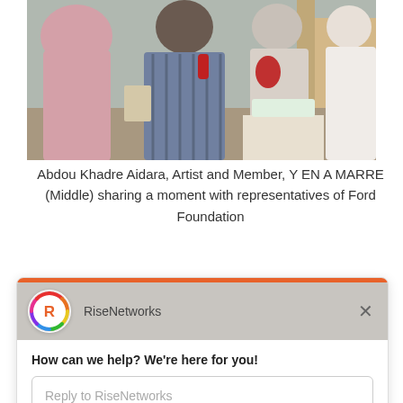[Figure (photo): Group of people standing together at an event, including a person in a pink shirt, a person in a plaid shirt, and others, in an indoor setting.]
Abdou Khadre Aidara, Artist and Member, Y EN A MARRE (Middle) sharing a moment with representatives of Ford Foundation
[Figure (screenshot): Chat widget popup from RiseNetworks with the message 'How can we help? We're here for you!' and a reply input field. Footer shows 'Chat by Drift'.]